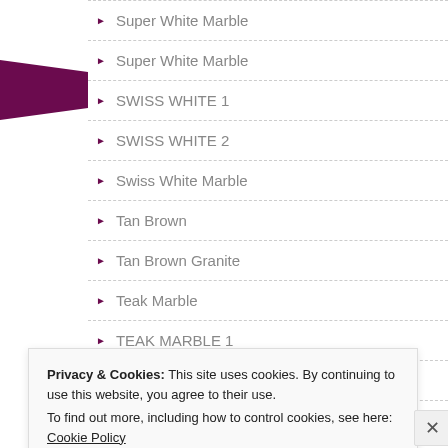Super White Marble
Super White Marble
SWISS WHITE 1
SWISS WHITE 2
Swiss White Marble
Tan Brown
Tan Brown Granite
Teak Marble
TEAK MARBLE 1
TEAK MARBLE 2
Privacy & Cookies: This site uses cookies. By continuing to use this website, you agree to their use.
To find out more, including how to control cookies, see here: Cookie Policy
Close and accept